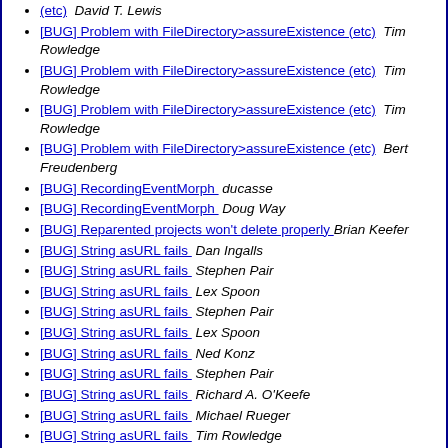(etc)  David T. Lewis
[BUG] Problem with FileDirectory>assureExistence (etc)  Tim Rowledge
[BUG] Problem with FileDirectory>assureExistence (etc)  Tim Rowledge
[BUG] Problem with FileDirectory>assureExistence (etc)  Tim Rowledge
[BUG] Problem with FileDirectory>assureExistence (etc)  Bert Freudenberg
[BUG] RecordingEventMorph  ducasse
[BUG] RecordingEventMorph  Doug Way
[BUG] Reparented projects won't delete properly  Brian Keefer
[BUG] String asURL fails  Dan Ingalls
[BUG] String asURL fails  Stephen Pair
[BUG] String asURL fails  Lex Spoon
[BUG] String asURL fails  Stephen Pair
[BUG] String asURL fails  Lex Spoon
[BUG] String asURL fails  Ned Konz
[BUG] String asURL fails  Stephen Pair
[BUG] String asURL fails  Richard A. O'Keefe
[BUG] String asURL fails  Michael Rueger
[BUG] String asURL fails  Tim Rowledge
[BUG] String asURL fails  Michael Rueger
[BUG] String asURL fails  Dave Hylands